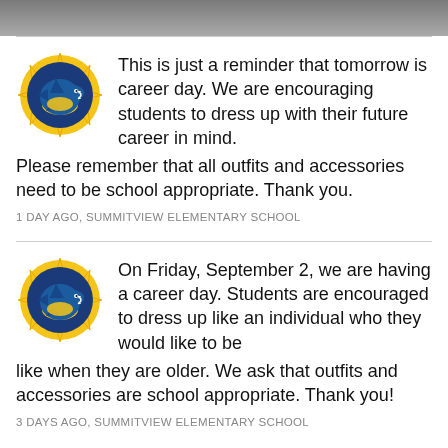[Figure (photo): Partial photo visible at top of page, cropped]
[Figure (logo): Summitview Elementary School shark logo — blue shark on yellow sunburst circle]
This is just a reminder that tomorrow is career day. We are encouraging students to dress up with their future career in mind. Please remember that all outfits and accessories need to be school appropriate. Thank you.
1 DAY AGO, SUMMITVIEW ELEMENTARY SCHOOL
[Figure (logo): Summitview Elementary School shark logo — blue shark on yellow sunburst circle]
On Friday, September 2, we are having a career day. Students are encouraged to dress up like an individual who they would like to be like when they are older. We ask that outfits and accessories are school appropriate. Thank you!
3 DAYS AGO, SUMMITVIEW ELEMENTARY SCHOOL